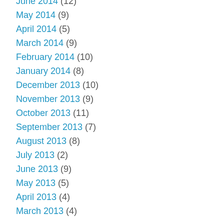June 2014 (12)
May 2014 (9)
April 2014 (5)
March 2014 (9)
February 2014 (10)
January 2014 (8)
December 2013 (10)
November 2013 (9)
October 2013 (11)
September 2013 (7)
August 2013 (8)
July 2013 (2)
June 2013 (9)
May 2013 (5)
April 2013 (4)
March 2013 (4)